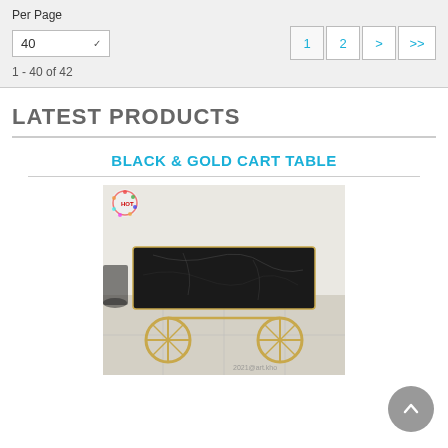Per Page
40
1 - 40 of 42
LATEST PRODUCTS
BLACK & GOLD CART TABLE
[Figure (photo): A black marble-top cart table with gold metal frame and two large circular gold wheels, photographed on a light-colored tiled floor against a white wall. A small colorful logo/watermark is visible in the top-left corner of the image.]